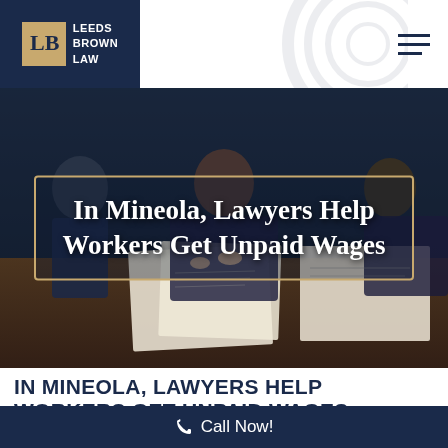[Figure (logo): Leeds Brown Law logo with LB badge on dark navy background]
[Figure (photo): Background photo of lawyers at a table reviewing documents, woman in center smiling]
In Mineola, Lawyers Help Workers Get Unpaid Wages
IN MINEOLA, LAWYERS HELP WORKERS GET UNPAID WAGES
Call Now!